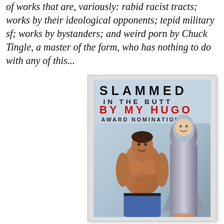of works that are, variously: rabid racist tracts; works by their ideological opponents; tepid military sf; works by bystanders; and weird porn by Chuck Tingle, a master of the form, who has nothing to do with any of this...
[Figure (illustration): Book cover of 'Slammed in the Butt by My Hugo Award Nomination' by Chuck Tingle. Shows a muscular shirtless man in the foreground, and a large rocket/missile behind him with a smiling face photoshopped onto the tip. Text on cover reads: SLAMMED / IN THE BUTT / BY MY HUGO / AWARD NOMINATION. Background is light blue-grey.]